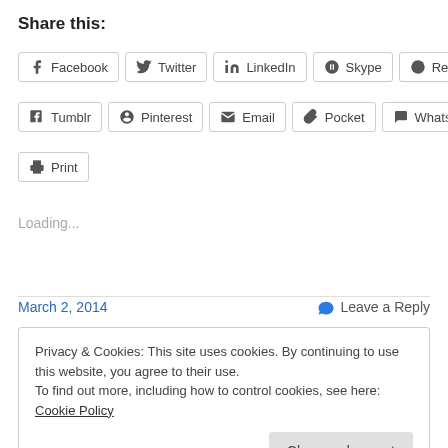Share this:
[Figure (other): Social sharing buttons: Facebook, Twitter, LinkedIn, Skype, Reddit, Tumblr, Pinterest, Email, Pocket, WhatsApp, Print]
Loading...
March 2, 2014
Leave a Reply
Privacy & Cookies: This site uses cookies. By continuing to use this website, you agree to their use.
To find out more, including how to control cookies, see here: Cookie Policy
Close and accept